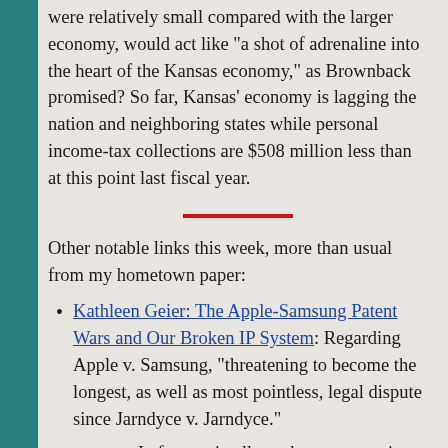were relatively small compared with the larger economy, would act like "a shot of adrenaline into the heart of the Kansas economy," as Brownback promised? So far, Kansas' economy is lagging the nation and neighboring states while personal income-tax collections are $508 million less than at this point last fiscal year.
Other notable links this week, more than usual from my hometown paper:
Kathleen Geier: The Apple-Samsung Patent Wars and Our Broken IP System: Regarding Apple v. Samsung, "threatening to become the longest, as well as most pointless, legal dispute since Jarndyce v. Jarndyce."
In fact, an intellectual property regime that grants excessively strong protection to rights-holders has the potential to stifle innovation, incentivize unproductive economic activity